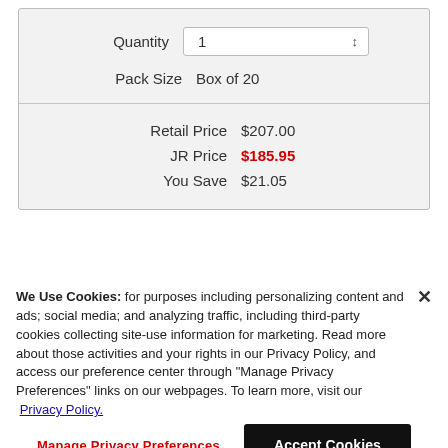| Quantity | 1 |
| Pack Size | Box of 20 |
| Retail Price | $207.00 |
| JR Price | $185.95 |
| You Save | $21.05 |
We Use Cookies: for purposes including personalizing content and ads; social media; and analyzing traffic, including third-party cookies collecting site-use information for marketing. Read more about those activities and your rights in our Privacy Policy, and access our preference center through "Manage Privacy Preferences" links on our webpages. To learn more, visit our Privacy Policy.
Manage Privacy Preferences
Accept Cookies